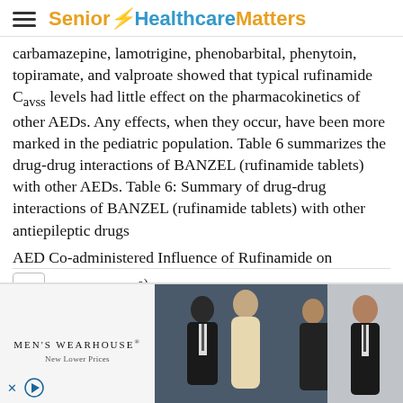Senior Healthcare Matters
carbamazepine, lamotrigine, phenobarbital, phenytoin, topiramate, and valproate showed that typical rufinamide Cavss levels had little effect on the pharmacokinetics of other AEDs. Any effects, when they occur, have been more marked in the pediatric population. Table 6 summarizes the drug-drug interactions of BANZEL (rufinamide tablets) with other AEDs. Table 6: Summary of drug-drug interactions of BANZEL (rufinamide tablets) with other antiepileptic drugs
AED Co-administered Influence of Rufinamide on concentrationa) Influence of AED on
[Figure (photo): Advertisement banner for Men's Wearhouse featuring a couple in formal wear and a man in a suit, with 'MEN'S WEARHOUSE New Lower Prices' text.]